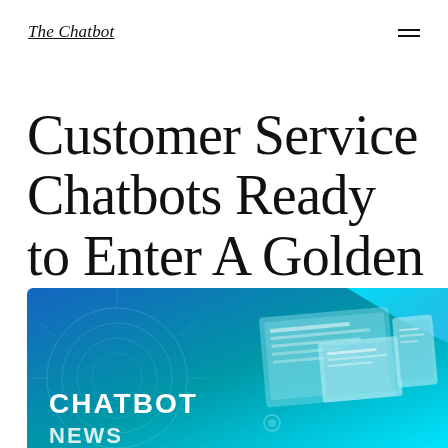The Chatbot
Customer Service Chatbots Ready to Enter A Golden Age
[Figure (illustration): Blue gradient banner image with isometric floating screens/devices on the right side and circular tech design elements on the left. Bold white text reads 'CHATBOT' and 'NEWS' at the bottom left.]